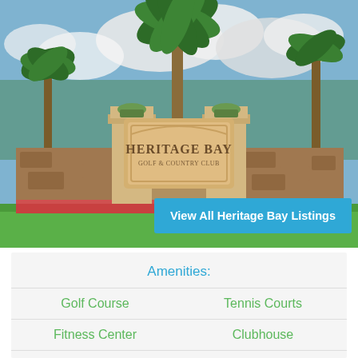[Figure (photo): Entrance sign for Heritage Bay Golf & Country Club with palm trees, stone pillars, and landscaping]
View All Heritage Bay Listings
Amenities:
Golf Course
Tennis Courts
Fitness Center
Clubhouse